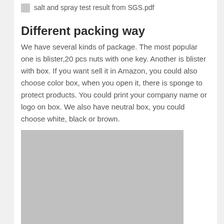salt and spray test result from SGS.pdf
Different packing way
We have several kinds of package. The most popular one is blister,20 pcs nuts with one key. Another is blister with box. If you want sell it in Amazon, you could also choose color box, when you open it, there is sponge to protect products. You could print your company name or logo on box. We also have neutral box, you could choose white, black or brown.
[Figure (photo): Placeholder grey image showing packaging examples]